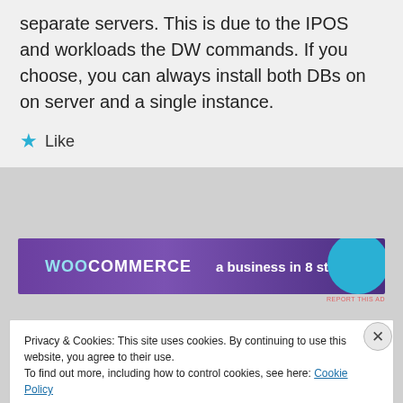separate servers. This is due to the IPOS and workloads the DW commands. If you choose, you can always install both DBs on on server and a single instance.
★ Like
[Figure (other): WooCommerce advertisement banner: 'a business in 8 steps' with teal circle graphic on purple/dark background]
REPORT THIS AD
Privacy & Cookies: This site uses cookies. By continuing to use this website, you agree to their use.
To find out more, including how to control cookies, see here: Cookie Policy
Close and accept